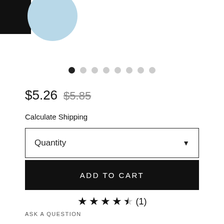[Figure (photo): Product image area with black rectangle on left and light blue circle partially visible on right top]
[Figure (infographic): Carousel dot indicators: 8 dots, first dot is dark/active, remaining 7 are light gray]
$5.26 $5.85
Calculate Shipping
Quantity
ADD TO CART
★★★★★(1)
ASK A QUESTION